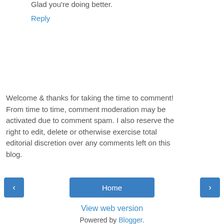Glad you're doing better.
Reply
Welcome & thanks for taking the time to comment! From time to time, comment moderation may be activated due to comment spam. I also reserve the right to edit, delete or otherwise exercise total editorial discretion over any comments left on this blog.
Home
View web version
Powered by Blogger.